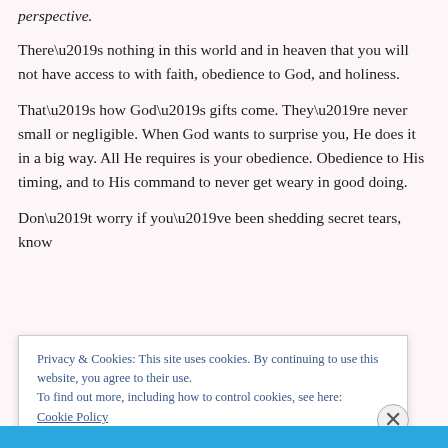perspective.
There’s nothing in this world and in heaven that you will not have access to with faith, obedience to God, and holiness.
That’s how God’s gifts come. They’re never small or negligible. When God wants to surprise you, He does it in a big way. All He requires is your obedience. Obedience to His timing, and to His command to never get weary in good doing.
Don’t worry if you’ve been shedding secret tears, know t... t...
Privacy & Cookies: This site uses cookies. By continuing to use this website, you agree to their use.
To find out more, including how to control cookies, see here:
Cookie Policy
Close and accept